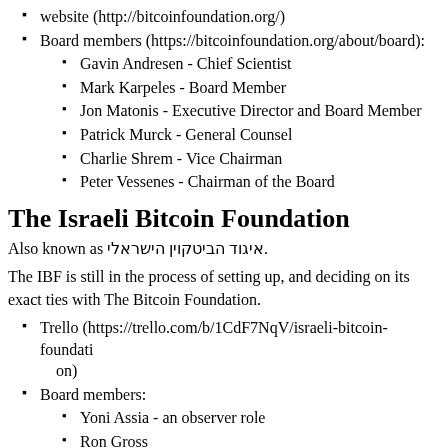website (http://bitcoinfoundation.org/)
Board members (https://bitcoinfoundation.org/about/board):
Gavin Andresen - Chief Scientist
Mark Karpeles - Board Member
Jon Matonis - Executive Director and Board Member
Patrick Murck - General Counsel
Charlie Shrem - Vice Chairman
Peter Vessenes - Chairman of the Board
The Israeli Bitcoin Foundation
Also known as איגוד הביטקוין הישראלי.
The IBF is still in the process of setting up, and deciding on its exact ties with The Bitcoin Foundation.
Trello (https://trello.com/b/1CdF7NqV/israeli-bitcoin-foundation)
Board members:
Yoni Assia - an observer role
Ron Gross
Eden Shochat
Eli Sklar
Meni Rosenfeld
Jonathan Rouach